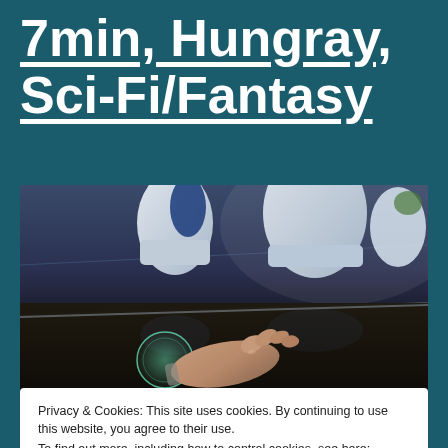7min, Hungray, Sci-Fi/Fantasy
[Figure (photo): A futuristic interior scene with white curved chairs, a reflective dark table surface, and a hand touching a glowing circular interface element. The setting appears to be a sci-fi environment with blue and dark tones.]
Privacy & Cookies: This site uses cookies. By continuing to use this website, you agree to their use.
To find out more, including how to control cookies, see here: Cookie Policy
Close and accept